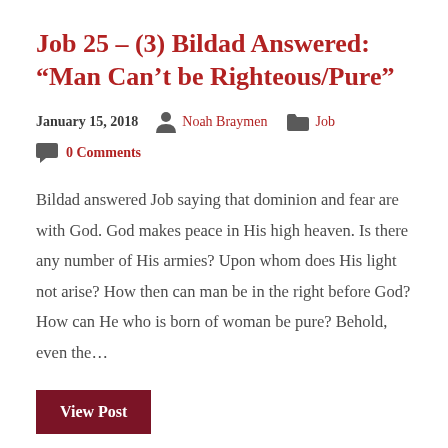Job 25 – (3) Bildad Answered: “Man Can’t be Righteous/Pure”
January 15, 2018   Noah Braymen   Job
0 Comments
Bildad answered Job saying that dominion and fear are with God. God makes peace in His high heaven. Is there any number of His armies? Upon whom does His light not arise? How then can man be in the right before God? How can He who is born of woman be pure? Behold, even the…
View Post